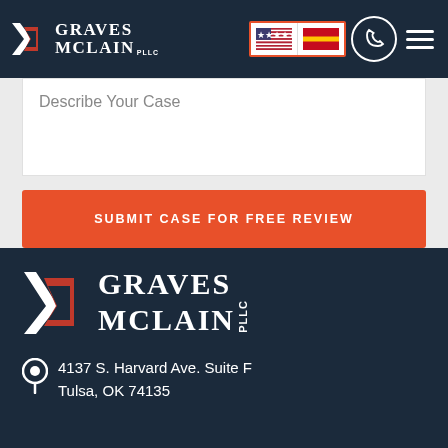Graves McLain PLLC
Describe Your Case
SUBMIT CASE FOR FREE REVIEW
[Figure (logo): Graves McLain PLLC logo in footer with address: 4137 S. Harvard Ave. Suite F, Tulsa, OK 74135]
4137 S. Harvard Ave. Suite F
Tulsa, OK 74135